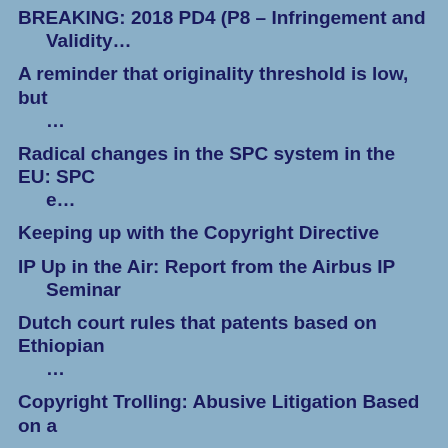BREAKING: 2018 PD4 (P8 – Infringement and Validity…
A reminder that originality threshold is low, but …
Radical changes in the SPC system in the EU: SPC e…
Keeping up with the Copyright Directive
IP Up in the Air: Report from the Airbus IP Seminar
Dutch court rules that patents based on Ethiopian …
Copyright Trolling: Abusive Litigation Based on a …
Annual Cambridge CIPIL Conference on mens rea in IP
Breaking: New referral to the Enlarged Board of Ap…
Never Too Late: if you missed the IPKat last week!
Britannia Rules on SEPs - But is it FRAND?
Facebook found liable for hosting links to online…